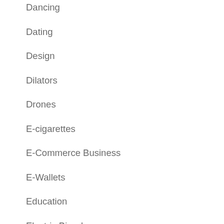Dancing
Dating
Design
Dilators
Drones
E-cigarettes
E-Commerce Business
E-Wallets
Education
Electric Bicycles
Electric Scooters